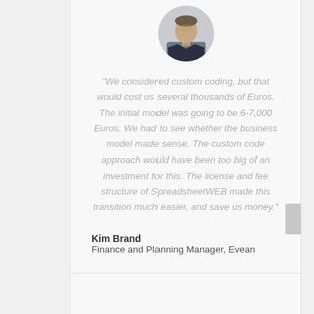[Figure (photo): Circular portrait photo of a man in a dark suit jacket]
"We considered custom coding, but that would cost us several thousands of Euros. The initial model was going to be 6-7,000 Euros. We had to see whether the business model made sense. The custom code approach would have been too big of an investment for this. The license and fee structure of SpreadsheetWEB made this transition much easier, and save us money."
Kim Brand
Finance and Planning Manager, Evean